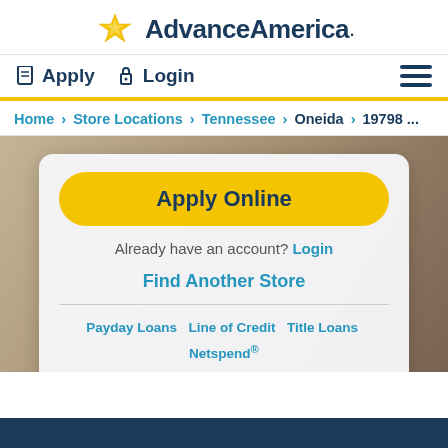[Figure (logo): Advance America logo with golden eagle/star icon and dark blue text]
Apply  Login
Home > Store Locations > Tennessee > Oneida > 19798 ...
Apply Online
Already have an account? Login
Find Another Store
Payday Loans  Line of Credit  Title Loans  Netspend® Visa® Prepaid Cards  Western Union